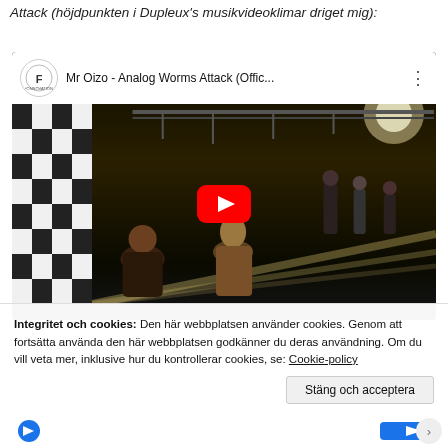Attack (höjdpunkten i Dupleux's musikvideoklimar driget mig):
[Figure (screenshot): YouTube embedded video player showing 'Mr Oizo - Analog Worms Attack (Offic...' with a concert/stage scene thumbnail and a red play button in the center.]
Integritet och cookies: Den här webbplatsen använder cookies. Genom att fortsätta använda den här webbplatsen godkänner du deras användning. Om du vill veta mer, inklusive hur du kontrollerar cookies, se: Cookie-policy
Stäng och acceptera